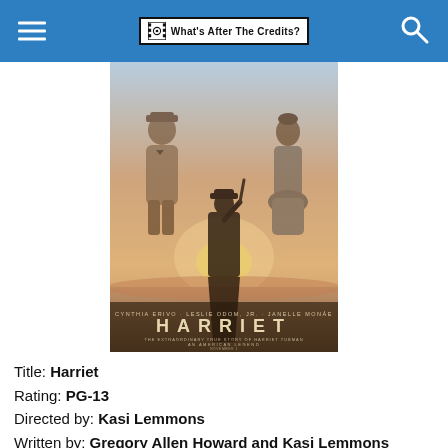What's After The Credits?
[Figure (photo): Movie poster for Harriet (2019), showing three figures in historical clothing against a dramatic sky, with a central silhouetted figure holding a rifle. Title text reads HARRIET across the bottom of the poster.]
Title: Harriet
Rating: PG-13
Directed by: Kasi Lemmons
Written by: Gregory Allen Howard and Kasi Lemmons
Starring: Cynthia Erivo, Leslie Odom Jr., Janelle Monáe, Joe